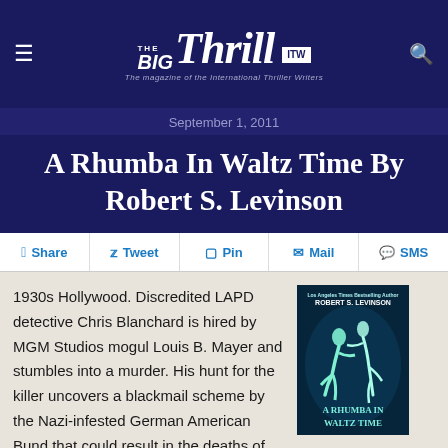The Big Thrill — The magazine of the International Thriller Writers | ITW
September 1, 2011
A Rhumba In Waltz Time By Robert S. Levinson
Share  Tweet  Pin  Mail  SMS
[Figure (illustration): Book cover for 'A Rhumba In Waltz Time' by Robert S. Levinson, dark teal/navy background with stylized dancing couple figures]
1930s Hollywood. Discredited LAPD detective Chris Blanchard is hired by MGM Studios mogul Louis B. Mayer and stumbles into a murder. His hunt for the killer uncovers a blackmail scheme by the Nazi-infested German American Bund that could result in the deaths of thousands. More bodies fall and hidden truths emerge as Blanchard battles his way through life-threatening twists that lead to